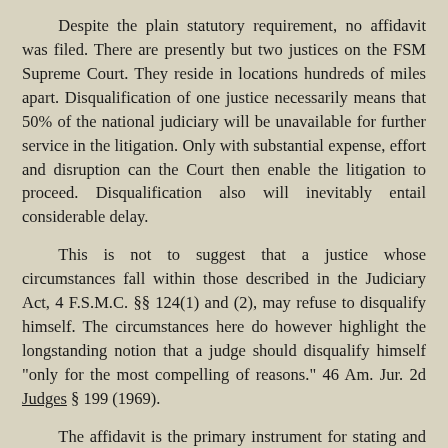Despite the plain statutory requirement, no affidavit was filed. There are presently but two justices on the FSM Supreme Court. They reside in locations hundreds of miles apart. Disqualification of one justice necessarily means that 50% of the national judiciary will be unavailable for further service in the litigation. Only with substantial expense, effort and disruption can the Court then enable the litigation to proceed. Disqualification also will inevitably entail considerable delay.
This is not to suggest that a justice whose circumstances fall within those described in the Judiciary Act, 4 F.S.M.C. §§ 124(1) and (2), may refuse to disqualify himself. The circumstances here do however highlight the longstanding notion that a judge should disqualify himself "only for the most compelling of reasons." 46 Am. Jur. 2d Judges § 199 (1969).
The affidavit is the primary instrument for stating and considering grounds for recusal. Without affidavits detailing the precise basis for the motions, the Court is